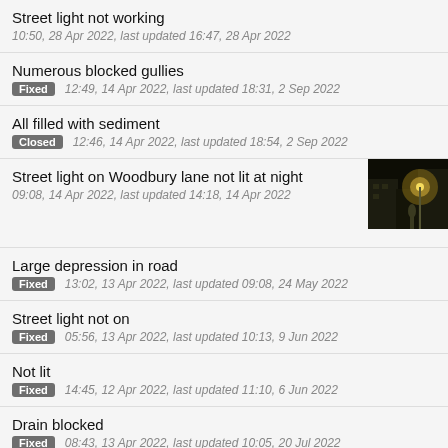Street light not working
10:50, 28 Apr 2022, last updated 16:47, 28 Apr 2022
Numerous blocked gullies
[Fixed] 12:49, 14 Apr 2022, last updated 18:31, 2 Sep 2022
All filled with sediment
[Closed] 12:46, 14 Apr 2022, last updated 18:54, 2 Sep 2022
Street light on Woodbury lane not lit at night
09:08, 14 Apr 2022, last updated 14:18, 14 Apr 2022
[Figure (photo): Night photo of a street light on Woodbury lane, dark scene with yellow light glow]
Large depression in road
[Fixed] 13:02, 13 Apr 2022, last updated 09:08, 24 May 2022
Street light not on
[Fixed] 05:56, 13 Apr 2022, last updated 10:13, 9 Jun 2022
Not lit
[Fixed] 14:45, 12 Apr 2022, last updated 11:10, 6 Jun 2022
Drain blocked
[Fixed] 08:43, 13 Apr 2022, last updated 10:05, 20 Jul 2022